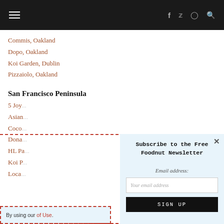Navigation bar with hamburger menu and social icons (f, Twitter, Instagram, search)
Commis, Oakland
Dopo, Oakland
Koi Garden, Dublin
Pizzaiolo, Oakland
San Francisco Peninsula
5 Joy...
Asian...
Coco...
Dona...
HL Pa...
Koi P...
Loca...
By using our... of Use.
[Figure (screenshot): Newsletter signup modal popup with title 'Subscribe to the Free Foodnut Newsletter', email address input field, and SIGN UP button]
Subscribe to the Free Foodnut Newsletter
Email address:
Your email address
SIGN UP